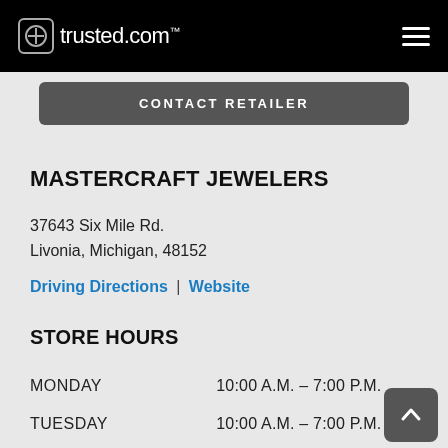trusted.com
CONTACT RETAILER
MASTERCRAFT JEWELERS
37643 Six Mile Rd.
Livonia, Michigan, 48152
Driving Directions | Website
STORE HOURS
| Day | Hours |
| --- | --- |
| MONDAY | 10:00 A.M. – 7:00 P.M. |
| TUESDAY | 10:00 A.M. – 7:00 P.M. |
| WEDNESDAY | 10:00 A.M. – 7:00 P.M. |